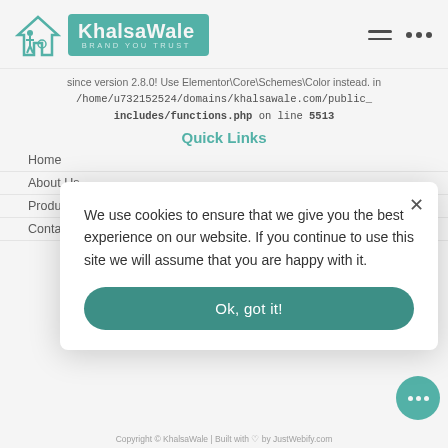KhalsaWale — BRAND YOU TRUST
since version 2.8.0! Use Elementor\Core\Schemes\Color instead. in /home/u732152524/domains/khalsawale.com/public_ includes/functions.php on line 5513
Quick Links
Home
About Us
Products
Contact
We use cookies to ensure that we give you the best experience on our website. If you continue to use this site we will assume that you are happy with it.
Ok, got it!
Copyright © KhalsaWale | Built with ♡ by JustWebify.com